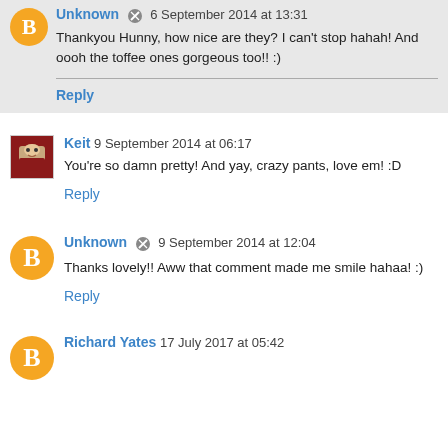Unknown 6 September 2014 at 13:31
Thankyou Hunny, how nice are they? I can't stop hahah! And oooh the toffee ones gorgeous too!! :)
Reply
Keit 9 September 2014 at 06:17
You're so damn pretty! And yay, crazy pants, love em! :D
Reply
Unknown 9 September 2014 at 12:04
Thanks lovely!! Aww that comment made me smile hahaa! :)
Reply
Richard Yates 17 July 2017 at 05:42